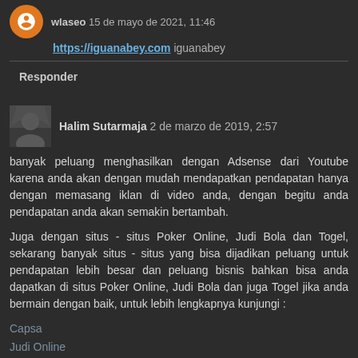wlaseo 15 de mayo de 2021, 11:46
https://iguanabey.com iguanabey
Responder
Halim Sutarmaja 2 de marzo de 2019, 2:57
banyak peluang menghasilkan dengan Adsense dari Youtube karena anda akan dengan mudah mendapatkan pendapatan hanya dengan memasang iklan di video anda, dengan begitu anda pendapatan anda akan semakin bertambah.
Juga dengan situs - situs Poker Online, Judi Bola dan Togel, sekarang banyak situs - situs yang bisa dijadikan peluang untuk pendapatan lebih besar dan peluang bisnis bahkan bisa anda dapatkan di situs Poker Online, Judi Bola dan juga Togel jika anda bermain dengan baik, untuk lebih lengkapnya kunjungi :
Capsa
Judi Online